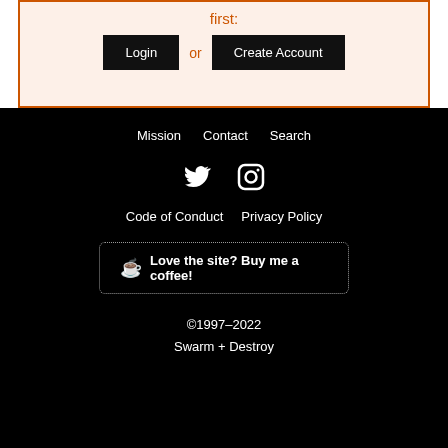first:
Login or Create Account
Mission  Contact  Search
[Twitter icon] [Instagram icon]
Code of Conduct  Privacy Policy
♥ Love the site? Buy me a coffee!
©1997–2022
Swarm + Destroy